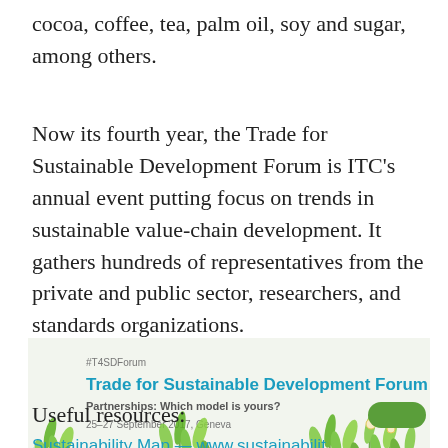cocoa, coffee, tea, palm oil, soy and sugar, among others.
Now its fourth year, the Trade for Sustainable Development Forum is ITC's annual event putting focus on trends in sustainable value-chain development. It gathers hundreds of representatives from the private and public sector, researchers, and standards organizations.
[Figure (illustration): Trade for Sustainable Development Forum 2017 banner with plants/grass imagery. Contains #T4SDForum hashtag, title 'Trade for Sustainable Development Forum 2017', subtitle 'Partnerships: Which model is yours?', and date '25–27 September 2017, Geneva'.]
Useful resources:
Sustainability Map — www.sustainabilit...